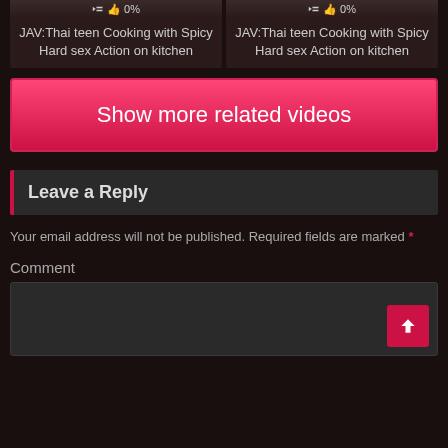👍 0%  JAV:Thai teen Cooking with Spicy Hard sex Action on kitchen (left card)
👍 0%  JAV:Thai teen Cooking with Spicy Hard sex Action on kitchen (right card)
Show more related videos
Leave a Reply
Your email address will not be published. Required fields are marked *
Comment